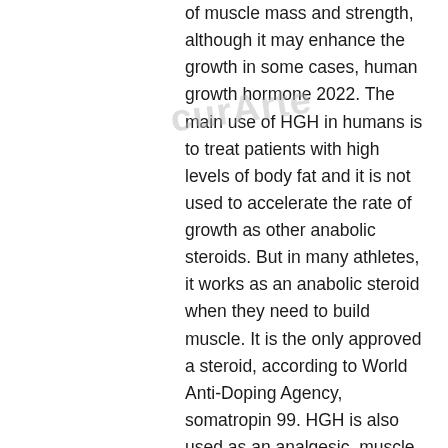of muscle mass and strength, although it may enhance the growth in some cases, human growth hormone 2022. The main use of HGH in humans is to treat patients with high levels of body fat and it is not used to accelerate the rate of growth as other anabolic steroids. But in many athletes, it works as an anabolic steroid when they need to build muscle. It is the only approved a steroid, according to World Anti-Doping Agency, somatropin 99. HGH is also used as an analgesic, muscle relaxant, and has been widely used as a stimulant to improve athletic activities, for instance for the elderly, somatropin 99. A few studies have shown that during periods of low to moderate exercise, HGH is more potent as an anabolic steroid in the muscle than testosterone and does not inhibit its effects. According to the World Anti-Doping Agency (WADA), the use of HGH in athletes is strictly prohibited, because of its harmful effects on muscle